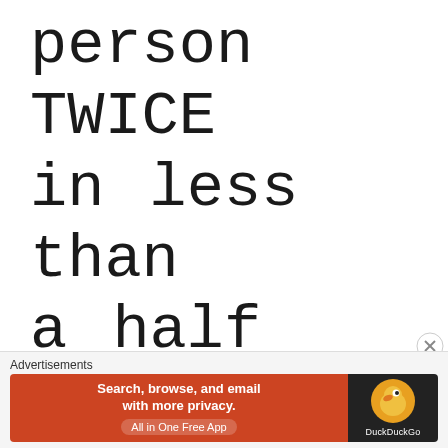person TWICE in less than a half hour!!!
JANUARY 11, 2011 / 43 COMMENTS
...partial cut-off text...
Advertisements
[Figure (screenshot): DuckDuckGo advertisement banner: orange background on left with text 'Search, browse, and email with more privacy. All in One Free App', dark background on right with DuckDuckGo duck logo]